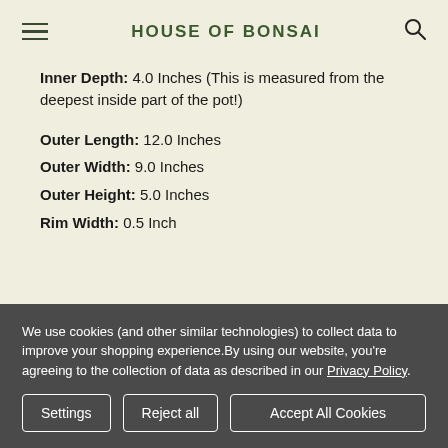HOUSE OF BONSAI
Inner Depth: 4.0 Inches (This is measured from the deepest inside part of the pot!)
Outer Length: 12.0 Inches
Outer Width: 9.0 Inches
Outer Height: 5.0 Inches
Rim Width: 0.5 Inch
We use cookies (and other similar technologies) to collect data to improve your shopping experience.By using our website, you're agreeing to the collection of data as described in our Privacy Policy.